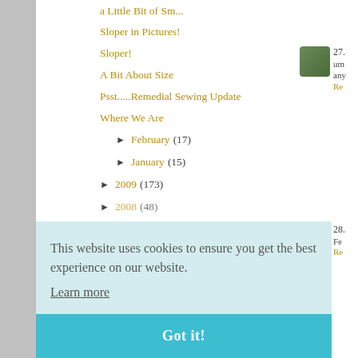a Little Bit of Sm...
Sloper in Pictures!
Sloper!
A Bit About Size
Psst.....Remedial Sewing Update
Where We Are
► February (17)
► January (15)
► 2009 (173)
► 2008 (48)
27. um any
Rep
28. Feb
Rep
29. Hm can
Rep
30.
This website uses cookies to ensure you get the best experience on our website. Learn more
Got it!